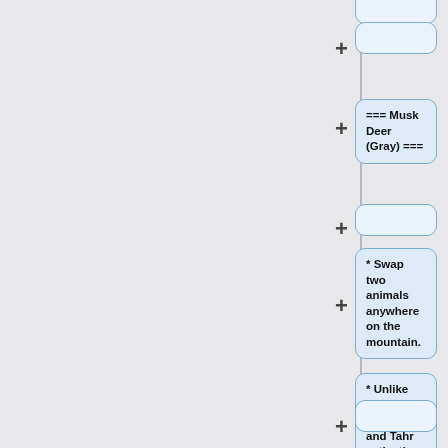+
=== Musk Deer (Gray) ===
+
* Swap two animals anywhere on the mountain.
* Unlike the Snow Leopard and Tahr activations, the animals moved by the Musk Deer do not need to be adjacent.
+